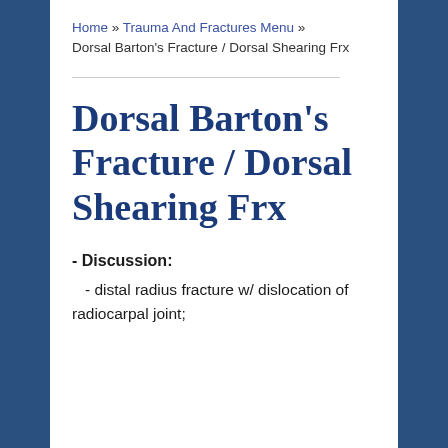Home » Trauma And Fractures Menu » Dorsal Barton's Fracture / Dorsal Shearing Frx
Dorsal Barton's Fracture / Dorsal Shearing Frx
- Discussion:
- distal radius fracture w/ dislocation of radiocarpal joint;